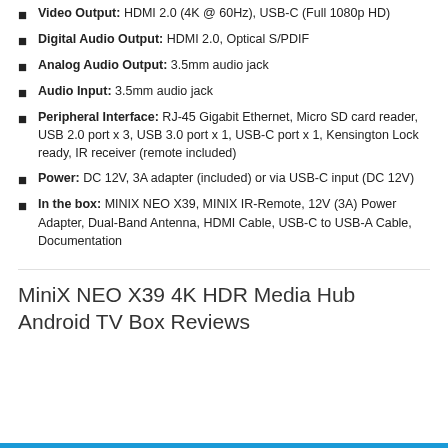Video Output: HDMI 2.0 (4K @ 60Hz), USB-C (Full 1080p HD)
Digital Audio Output: HDMI 2.0, Optical S/PDIF
Analog Audio Output: 3.5mm audio jack
Audio Input: 3.5mm audio jack
Peripheral Interface: RJ-45 Gigabit Ethernet, Micro SD card reader, USB 2.0 port x 3, USB 3.0 port x 1, USB-C port x 1, Kensington Lock ready, IR receiver (remote included)
Power: DC 12V, 3A adapter (included) or via USB-C input (DC 12V)
In the box: MINIX NEO X39, MINIX IR-Remote, 12V (3A) Power Adapter, Dual-Band Antenna, HDMI Cable, USB-C to USB-A Cable, Documentation
MiniX NEO X39 4K HDR Media Hub Android TV Box Reviews